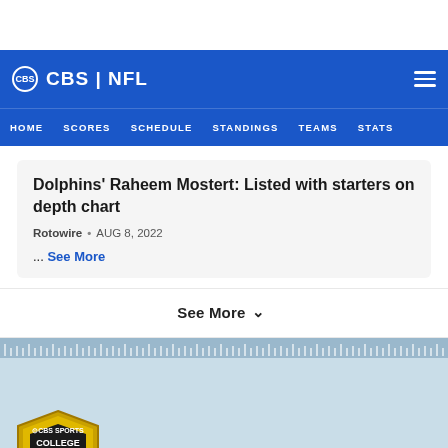CBS | NFL
HOME SCORES SCHEDULE STANDINGS TEAMS STATS
Dolphins' Raheem Mostert: Listed with starters on depth chart
Rotowire • AUG 8, 2022
... See More
See More
[Figure (logo): CBS Sports College Pick'Em badge logo — gold shield with football and text 'CBS Sports College Pick'Em']